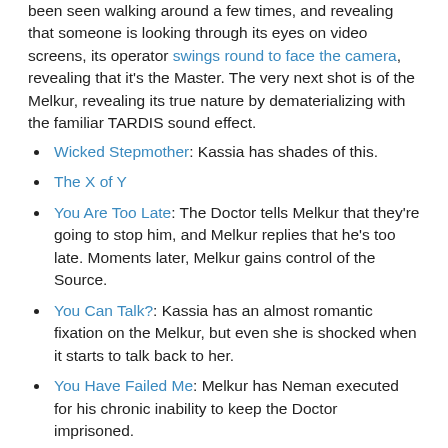been seen walking around a few times, and revealing that someone is looking through its eyes on video screens, its operator swings round to face the camera, revealing that it's the Master. The very next shot is of the Melkur, revealing its true nature by dematerializing with the familiar TARDIS sound effect.
Wicked Stepmother: Kassia has shades of this.
The X of Y
You Are Too Late: The Doctor tells Melkur that they're going to stop him, and Melkur replies that he's too late. Moments later, Melkur gains control of the Source.
You Can Talk?: Kassia has an almost romantic fixation on the Melkur, but even she is shocked when it starts to talk back to her.
You Have Failed Me: Melkur has Neman executed for his chronic inability to keep the Doctor imprisoned.
Your Princess Is in Another Castle!: At the end, the Master has been defeated and possibly killed and the Doctor has